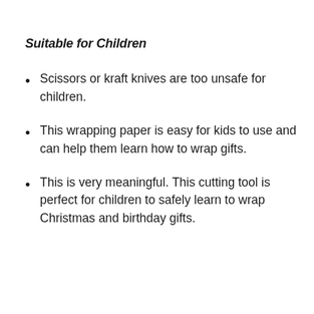Suitable for Children
Scissors or kraft knives are too unsafe for children.
This wrapping paper is easy for kids to use and can help them learn how to wrap gifts.
This is very meaningful. This cutting tool is perfect for children to safely learn to wrap Christmas and birthday gifts.